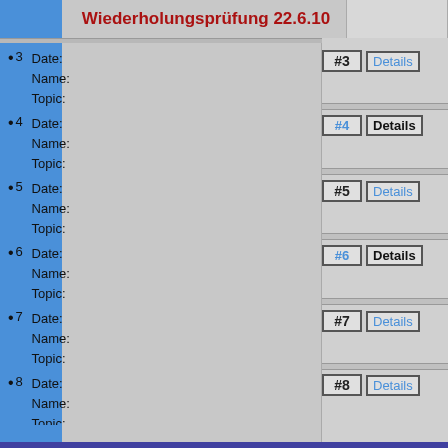Wiederholungsprüfung 22.6.10
3  Date:
   Name:
   Topic:
4  Date:
   Name:
   Topic:
5  Date:
   Name:
   Topic:
6  Date:
   Name:
   Topic:
7  Date:
   Name:
   Topic:
8  Date:
   Name:
   Topic:
9  Date:
   Name:
   Topic:
10 Date:
   Name:
   Topic: